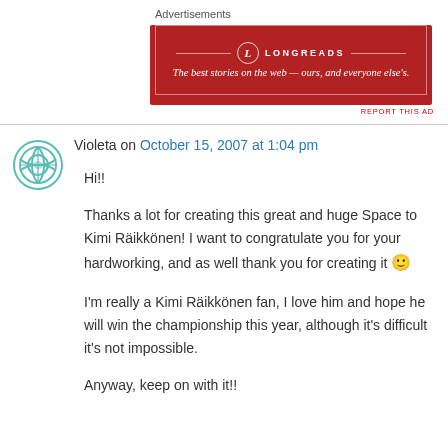Advertisements
[Figure (other): Longreads advertisement banner: red background with white border, logo circle with 'L', text 'LONGREADS', tagline 'The best stories on the web — ours, and everyone else's.']
REPORT THIS AD
Violeta on October 15, 2007 at 1:04 pm
Hi!!
Thanks a lot for creating this great and huge Space to Kimi Räikkönen! I want to congratulate you for your hardworking, and as well thank you for creating it 🙂
I'm really a Kimi Räikkönen fan, I love him and hope he will win the championship this year, although it's difficult it's not impossible.
Anyway, keep on with it!!

Violeta 🙂